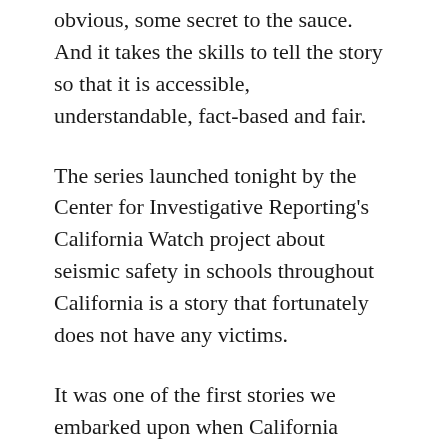obvious, some secret to the sauce. And it takes the skills to tell the story so that it is accessible, understandable, fact-based and fair.
The series launched tonight by the Center for Investigative Reporting's California Watch project about seismic safety in schools throughout California is a story that fortunately does not have any victims.
It was one of the first stories we embarked upon when California Watch started 19 months ago and reporter Corey G. Johnson joined our staff. It has been an arduous process, supported by others, but Johnson's tenacity has been admirable and